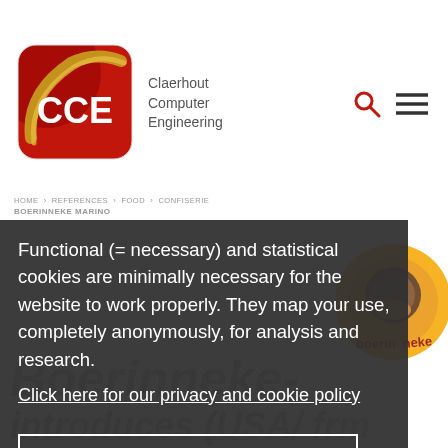[Figure (logo): CCE Claerhout Computer Engineering logo — red rounded-square with white CCE text and golden swirl]
Claerhout Computer Engineering
HOME › REFERENCES › FOOD › CONFISERIE
BOERINNEKE MARINO
Functional (= necessary) and statistical cookies are minimally necessary for the website to work properly. They map your use, completely anonymously, for analysis and research.
Click here for our privacy and cookie policy
These cookies are okay
Boerinneke-Marino
introduces (USA/ fr...